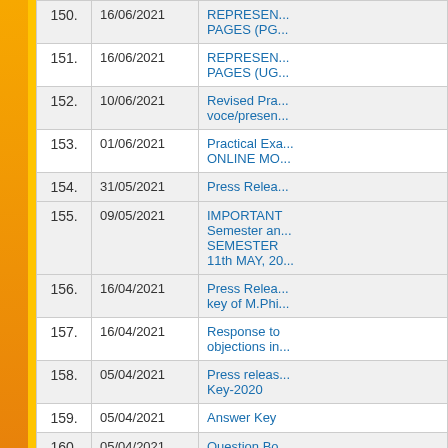| No. | Date | Title |
| --- | --- | --- |
| 150. | 16/06/2021 | REPRESEN... PAGES (PG... |
| 151. | 16/06/2021 | REPRESEN... PAGES (UG... |
| 152. | 10/06/2021 | Revised Pra... voce/presen... |
| 153. | 01/06/2021 | Practical Exa... ONLINE MO... |
| 154. | 31/05/2021 | Press Relea... |
| 155. | 09/05/2021 | IMPORTANT Semester an... SEMESTER 11th MAY, 20... |
| 156. | 16/04/2021 | Press Relea... key of M.Phi... |
| 157. | 16/04/2021 | Response to objections in... |
| 158. | 05/04/2021 | Press releas... Key-2020 |
| 159. | 05/04/2021 | Answer Key |
| 160. | 05/04/2021 | Question Bo... MPHIL/PHD... |